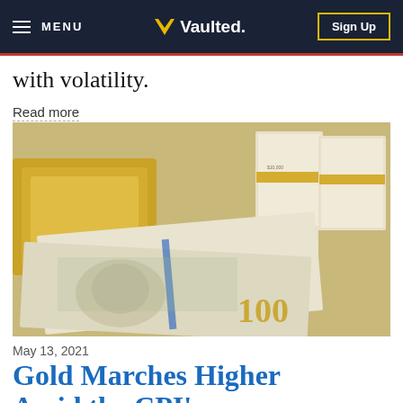MENU | Vaulted. | Sign Up
with volatility.
Read more
[Figure (photo): Stacks of US $100 dollar bills bundled with gold bands, alongside a gold bar, scattered cash bills with Benjamin Franklin's portrait visible, and roll of currency.]
May 13, 2021
Gold Marches Higher Amid the CPI's